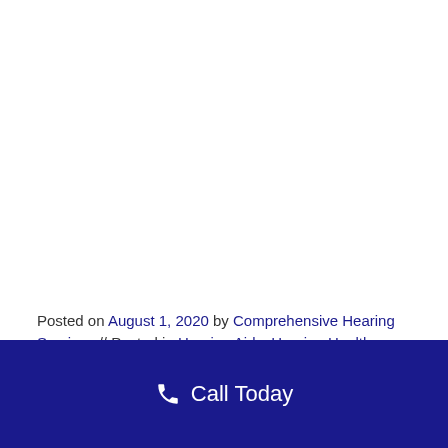Posted on August 1, 2020 by Comprehensive Hearing Services // Posted in Hearing Aids, Hearing Health, Hearing Loss
Call Today